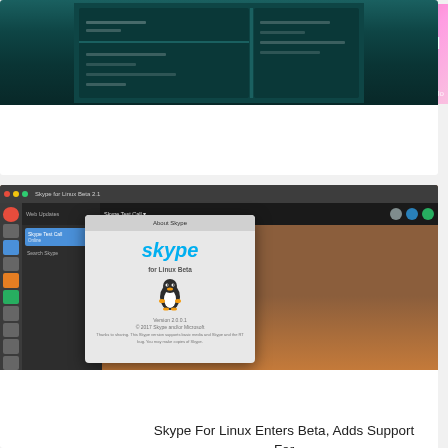[Figure (screenshot): Advertisement banner with woman wearing headset and text MEET WITH LO... and clo... logo on pink gradient background]
[Figure (screenshot): Terminal emulator screenshot showing dark teal/green terminal window]
Terminix Terminal Emulator Renamed To Tilix, Sees New Bugfix Release
[Figure (screenshot): Skype For Linux Beta screenshot showing chat window and About Skype dialog with Linux penguin]
Skype For Linux Enters Beta, Adds Support For